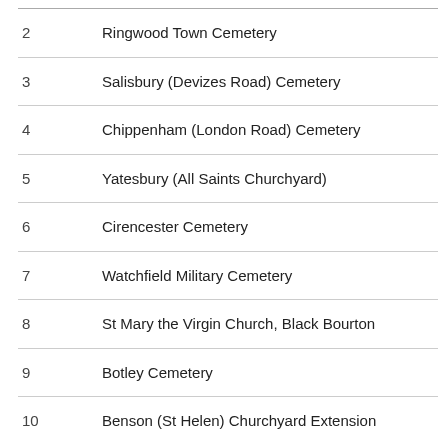| # | Cemetery / Churchyard |
| --- | --- |
| 2 | Ringwood Town Cemetery |
| 3 | Salisbury (Devizes Road) Cemetery |
| 4 | Chippenham (London Road) Cemetery |
| 5 | Yatesbury (All Saints Churchyard) |
| 6 | Cirencester Cemetery |
| 7 | Watchfield Military Cemetery |
| 8 | St Mary the Virgin Church, Black Bourton |
| 9 | Botley Cemetery |
| 10 | Benson (St Helen) Churchyard Extension |